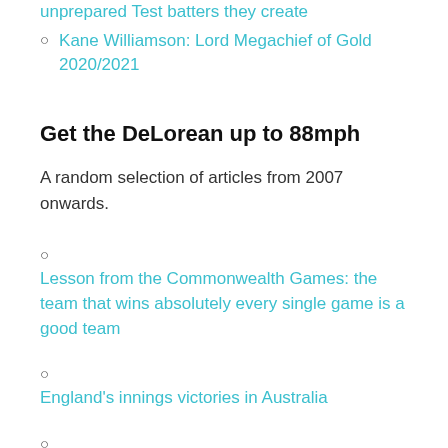unprepared Test batters they create
Kane Williamson: Lord Megachief of Gold 2020/2021
Get the DeLorean up to 88mph
A random selection of articles from 2007 onwards.
Lesson from the Commonwealth Games: the team that wins absolutely every single game is a good team
England's innings victories in Australia